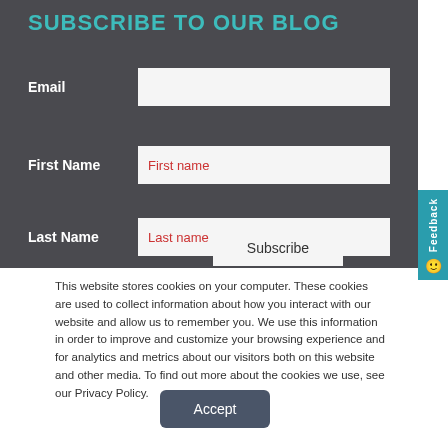SUBSCRIBE TO OUR BLOG
Email
First Name
Last Name
First name
Last name
Subscribe
This website stores cookies on your computer. These cookies are used to collect information about how you interact with our website and allow us to remember you. We use this information in order to improve and customize your browsing experience and for analytics and metrics about our visitors both on this website and other media. To find out more about the cookies we use, see our Privacy Policy.
Accept